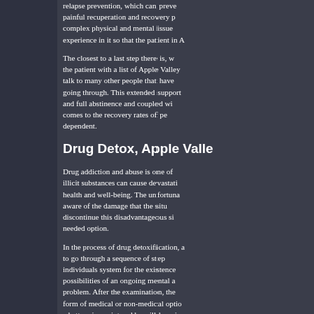relapse prevention, which can prevent a painful recuperation and recovery process. The complex physical and mental issues needs experience in it so that the patient in A
The closest to a last step there is, w the patient with a list of Apple Valley talk to many other people that have going through. This extended support and full abstinence and coupled wi comes to the recovery rates of pe dependent.
Drug Detox, Apple Valle
Drug addiction and abuse is one of illicit substances can cause devastati health and well-being. The unfortuna aware of the damage that the situ discontinue this disadvantageous si needed option.
In the process of drug detoxification, a to go through a sequence of step individuals system for the existence possibilities of an ongoing mental a problem. After the examination, the form of medical or non-medical optio a better viewpoint and he will be ori the patient is advised to go through a
The Benefits of Choosing the Drug-F
Engaging in a non-medical detoxifica handling or managing addiction. Fo drug detox. This is an option that o method of recovery instead of relying medical method employs a holisti